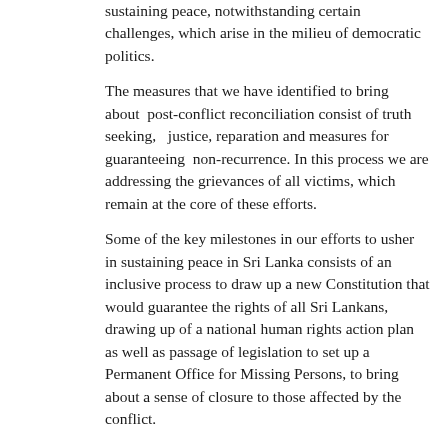sustaining peace, notwithstanding certain challenges, which arise in the milieu of democratic politics.
The measures that we have identified to bring about post-conflict reconciliation consist of truth seeking, justice, reparation and measures for guaranteeing non-recurrence. In this process we are addressing the grievances of all victims, which remain at the core of these efforts.
Some of the key milestones in our efforts to usher in sustaining peace in Sri Lanka consists of an inclusive process to draw up a new Constitution that would guarantee the rights of all Sri Lankans, drawing up of a national human rights action plan as well as passage of legislation to set up a Permanent Office for Missing Persons, to bring about a sense of closure to those affected by the conflict.
The report of the Consultation Task Force which sought the views of the public on transitional justice mechanisms is presently being studied to determine the appropriate mechanisms for truth seeking, reparations, justice and non-recurrence.
The Office for National Unity and Reconciliation (ONUR), is working on a National Policy on Reconciliation. The Office is also